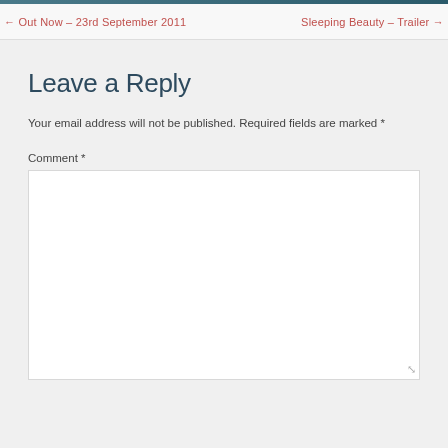← Out Now – 23rd September 2011    Sleeping Beauty – Trailer →
Leave a Reply
Your email address will not be published. Required fields are marked *
Comment *